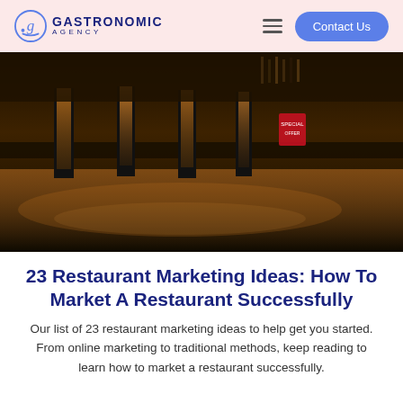GASTRONOMIC AGENCY | Contact Us
[Figure (photo): Interior of a restaurant bar with warm golden lighting, dark counters, and bar stools in the background]
23 Restaurant Marketing Ideas: How To Market A Restaurant Successfully
Our list of 23 restaurant marketing ideas to help get you started. From online marketing to traditional methods, keep reading to learn how to market a restaurant successfully.